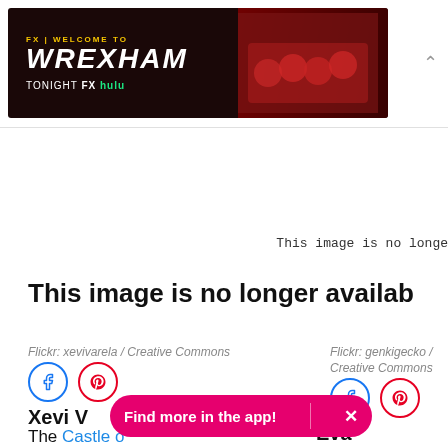[Figure (screenshot): Advertisement banner for 'Welcome to Wrexham' on FX/Hulu showing team photo with red jerseys against dark background]
This image is no longe
This image is no longer availab
Flickr: xevivarela / Creative Commons
Xevi V
Flickr: genkigecko / Creative Commons
Eva Funderburgh
The Castle o[f...] as the Fort of Good Hope in 1652, when it was the first military
[Figure (screenshot): Pink/magenta pill-shaped CTA button reading 'Find more in the app!' with an X close button]